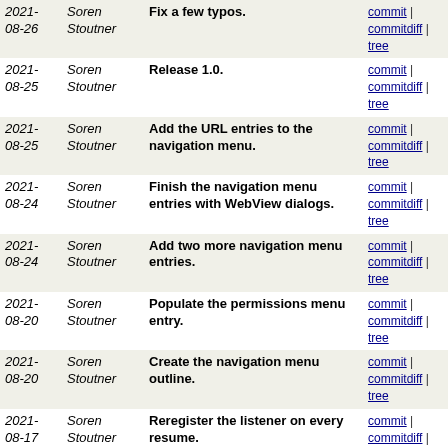| Date | Author | Message | Links |
| --- | --- | --- | --- |
| 2021-08-26 | Soren Stoutner | Fix a few typos. | commit | commitdiff | tree |
| 2021-08-25 | Soren Stoutner | Release 1.0. | commit | commitdiff | tree |
| 2021-08-25 | Soren Stoutner | Add the URL entries to the navigation menu. | commit | commitdiff | tree |
| 2021-08-24 | Soren Stoutner | Finish the navigation menu entries with WebView dialogs. | commit | commitdiff | tree |
| 2021-08-24 | Soren Stoutner | Add two more navigation menu entries. | commit | commitdiff | tree |
| 2021-08-20 | Soren Stoutner | Populate the permissions menu entry. | commit | commitdiff | tree |
| 2021-08-20 | Soren Stoutner | Create the navigation menu outline. | commit | commitdiff | tree |
| 2021-08-17 | Soren Stoutner | Reregister the listener on every resume. | commit | commitdiff | tree |
| 2021-08-17 | Soren Stoutner | Request the phone permission if needed. | commit | commitdiff | tree |
| 2021-08-14 | Soren Stoutner | Format the main activity. | commit | commitdiff | tree |
| 2021-08-13 | Soren Stoutner | Create the Day/Night theme. | commit | commitdiff | tree |
| 2021-08-13 | Soren Stoutner | Add the app icon. | commit | commitdiff | tree |
| 2021-08-13 | Soren Stoutner | Initial commit. | commit | commitdiff | tree |